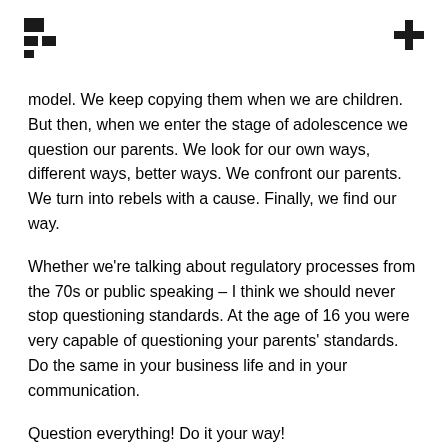[logo left] [plus icon right]
model. We keep copying them when we are children. But then, when we enter the stage of adolescence we question our parents. We look for our own ways, different ways, better ways. We confront our parents. We turn into rebels with a cause. Finally, we find our way.
Whether we're talking about regulatory processes from the 70s or public speaking – I think we should never stop questioning standards. At the age of 16 you were very capable of questioning your parents' standards. Do the same in your business life and in your communication.
Question everything! Do it your way!
When David and I were about to leave the Can Traver, Ernest